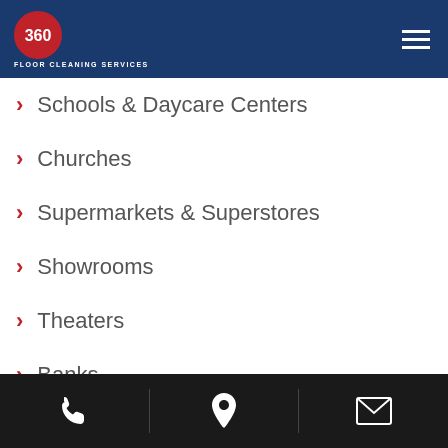360 Floor Cleaning Services
Schools & Daycare Centers
Churches
Supermarkets & Superstores
Showrooms
Theaters
Banks
Country Clubs
Commercial
Phone | Location | Email